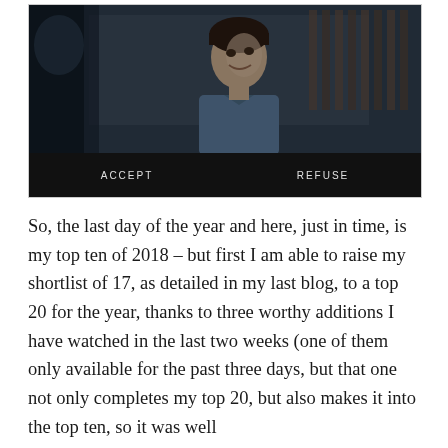[Figure (screenshot): A screenshot from a Netflix interactive film (Black Mirror: Bandersnatch) showing a young man looking upward, with a dark cinematic scene. At the bottom of the image is a black bar with two choice buttons: ACCEPT and REFUSE.]
So, the last day of the year and here, just in time, is my top ten of 2018 – but first I am able to raise my shortlist of 17, as detailed in my last blog, to a top 20 for the year, thanks to three worthy additions I have watched in the last two weeks (one of them only available for the past three days, but that one not only completes my top 20, but also makes it into the top ten, so it was well